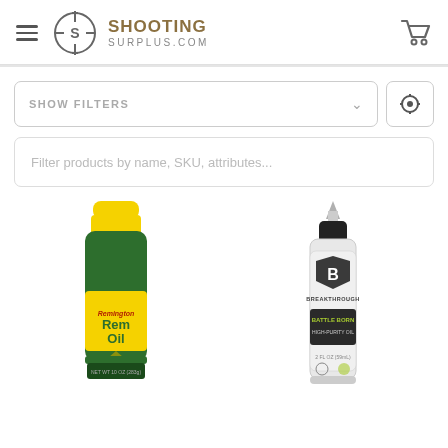SHOOTING SURPLUS.COM
SHOW FILTERS
Filter products by name, SKU, attributes...
[Figure (photo): Remington Rem Oil spray can, yellow and green aerosol can]
[Figure (photo): Breakthrough Battle Born High-Purity Oil bottle, clear dropper bottle with black cap]